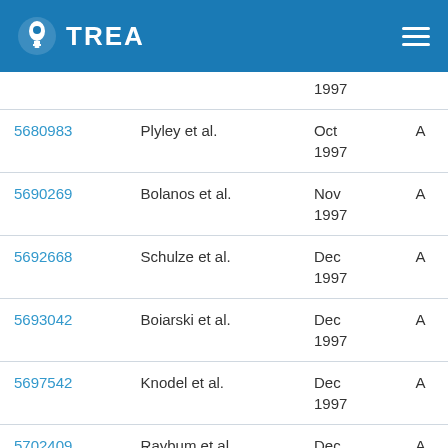TREA
| Patent No. | Inventors | Date | Kind |
| --- | --- | --- | --- |
|  |  | 1997 |  |
| 5680983 | Plyley et al. | Oct 1997 | A |
| 5690269 | Bolanos et al. | Nov 1997 | A |
| 5692668 | Schulze et al. | Dec 1997 | A |
| 5693042 | Boiarski et al. | Dec 1997 | A |
| 5697542 | Knodel et al. | Dec 1997 | A |
| 5702409 | Raybum et al. | Dec 1997 | A |